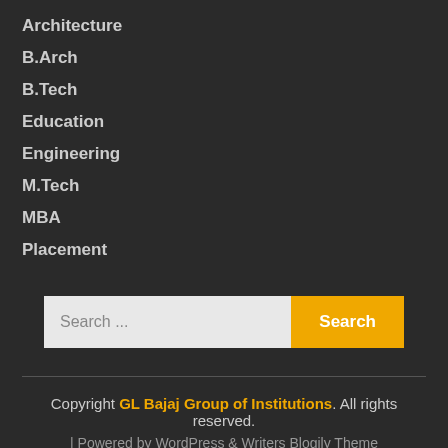Architecture
B.Arch
B.Tech
Education
Engineering
M.Tech
MBA
Placement
Search ...
Copyright GL Bajaj Group of Institutions. All rights reserved. | Powered by WordPress & Writers Blogily Theme